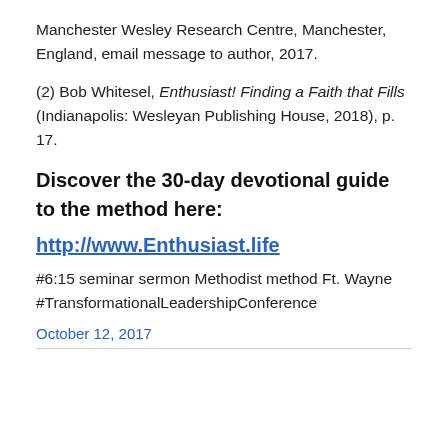Manchester Wesley Research Centre, Manchester, England, email message to author, 2017.
(2) Bob Whitesel, Enthusiast! Finding a Faith that Fills (Indianapolis: Wesleyan Publishing House, 2018), p. 17.
Discover the 30-day devotional guide to the method here:
http://www.Enthusiast.life
#6:15 seminar sermon Methodist method Ft. Wayne #TransformationalLeadershipConference
October 12, 2017